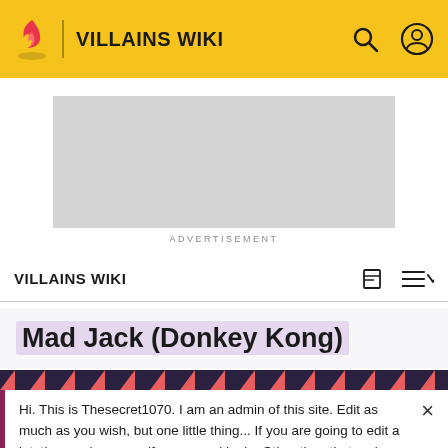VILLAINS WIKI
[Figure (other): Gray advertisement placeholder box]
ADVERTISEMENT
VILLAINS WIKI
Mad Jack (Donkey Kong)
Hi. This is Thesecret1070. I am an admin of this site. Edit as much as you wish, but one little thing... If you are going to edit a lot, then make yourself a user and login. Other than that, enjoy Villains Wiki!!!